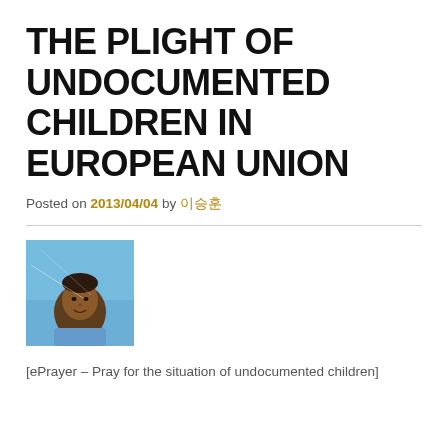THE PLIGHT OF UNDOCUMENTED CHILDREN IN EUROPEAN UNION
Posted on 2013/04/04 by 이승훈
[Figure (photo): Photo of a young boy looking up against a blue sky background]
[ePrayer – Pray for the situation of undocumented children]